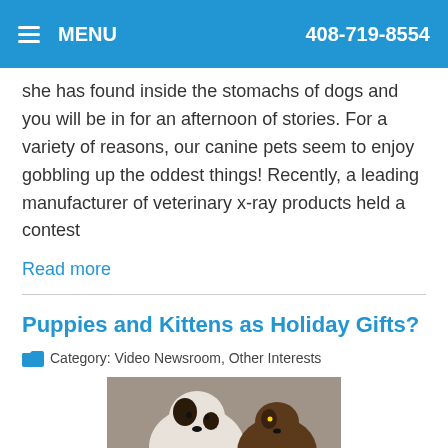MENU | 408-719-8554
she has found inside the stomachs of dogs and you will be in for an afternoon of stories. For a variety of reasons, our canine pets seem to enjoy gobbling up the oddest things! Recently, a leading manufacturer of veterinary x-ray products held a contest
Read more
Puppies and Kittens as Holiday Gifts?
Category: Video Newsroom, Other Interests
[Figure (photo): Photo of two puppies/kittens with holiday decorations]